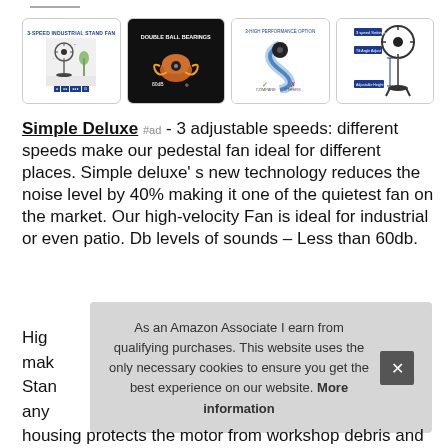[Figure (photo): Four product thumbnail images of an industrial stand fan showing: (1) 3-speed industrial stand fan with dimensions, (2) Double ball bearings motor detail on black background, (3) High performance speed airflow diagram, (4) 3-speed settings and adjustable height diagram]
Simple Deluxe #ad - 3 adjustable speeds: different speeds make our pedestal fan ideal for different places. Simple deluxe' s new technology reduces the noise level by 40% making it one of the quietest fan on the market. Our high-velocity Fan is ideal for industrial or even patio. Db levels of sounds – Less than 60db.
High...mak...Stan...any...
As an Amazon Associate I earn from qualifying purchases. This website uses the only necessary cookies to ensure you get the best experience on our website. More information
housing protects the motor from workshop debris and all other